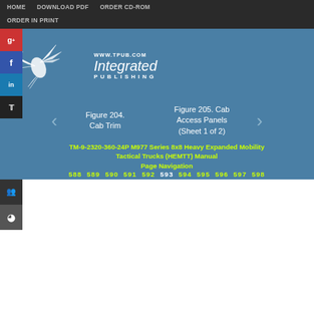HOME   DOWNLOAD PDF   ORDER CD-ROM   ORDER IN PRINT
[Figure (logo): Integrated Publishing logo with bird graphic and text WWW.TPUB.COM and Integrated PUBLISHING on steel blue background]
Figure 204. Cab Trim
Figure 205. Cab Access Panels (Sheet 1 of 2)
TM-9-2320-360-24P M977 Series 8x8 Heavy Expanded Mobility Tactical Trucks (HEMTT) Manual
Page Navigation
588 589 590 591 592 593 594 595 596 597 598